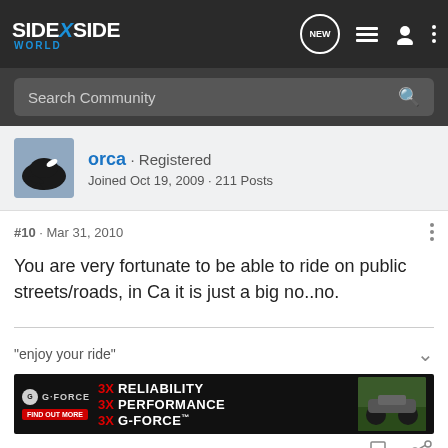SIDE X SIDE WORLD — navigation header with NEW, list, user, and menu icons
Search Community
orca · Registered
Joined Oct 19, 2009 · 211 Posts
#10 · Mar 31, 2010
You are very fortunate to be able to ride on public streets/roads, in Ca it is just a big no..no.
"enjoy your ride"
[Figure (other): G-FORCE advertisement banner: 3X RELIABILITY, 3X PERFORMANCE, 3X G-FORCE with FIND OUT MORE button and ATV photo on right]